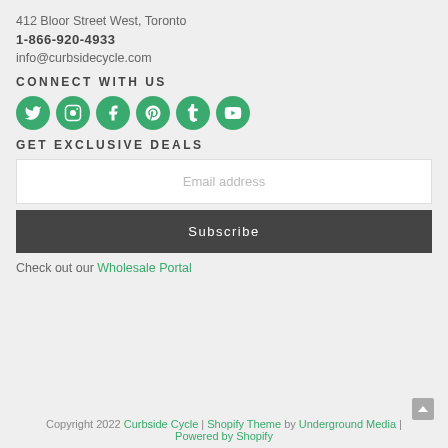412 Bloor Street West, Toronto
1-866-920-4933
info@curbsidecycle.com
CONNECT WITH US
[Figure (other): Six circular green social media icons: Twitter, Instagram, Facebook, Pinterest, Tumblr, YouTube]
GET EXCLUSIVE DEALS
Email address (input field placeholder)
Subscribe (button)
Check out our Wholesale Portal
Copyright 2022 Curbside Cycle | Shopify Theme by Underground Media | Powered by Shopify